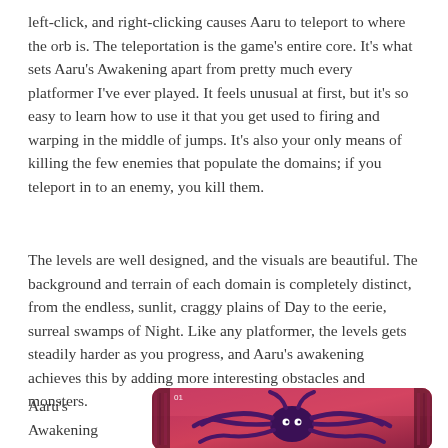left-click, and right-clicking causes Aaru to teleport to where the orb is. The teleportation is the game's entire core. It's what sets Aaru's Awakening apart from pretty much every platformer I've ever played. It feels unusual at first, but it's so easy to learn how to use it that you get used to firing and warping in the middle of jumps. It's also your only means of killing the few enemies that populate the domains; if you teleport in to an enemy, you kill them.
The levels are well designed, and the visuals are beautiful. The background and terrain of each domain is completely distinct, from the endless, sunlit, craggy plains of Day to the eerie, surreal swamps of Night. Like any platformer, the levels gets steadily harder as you progress, and Aaru's awakening achieves this by adding more interesting obstacles and monsters.
Aaru's Awakening
[Figure (photo): Screenshot of Aaru's Awakening game showing a dark purple creature/boss with tentacles against a pink/red background]